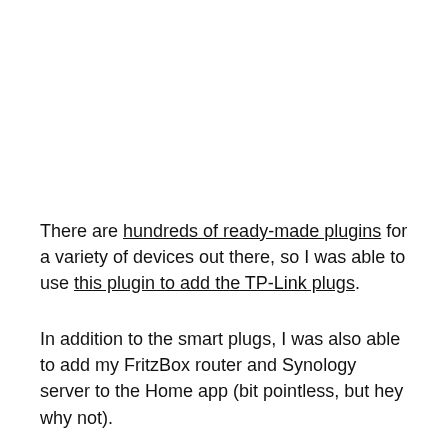There are hundreds of ready-made plugins for a variety of devices out there, so I was able to use this plugin to add the TP-Link plugs.
In addition to the smart plugs, I was also able to add my FritzBox router and Synology server to the Home app (bit pointless, but hey why not).
If you want to play around with HomeKit, it's fairly straightforward to set up – check it out!